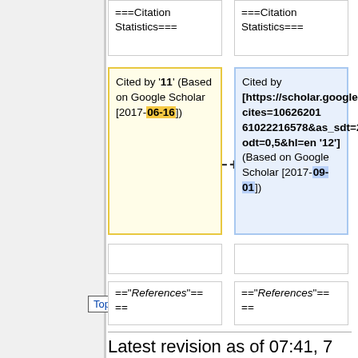===Citation Statistics===
===Citation Statistics===
Cited by '''11''' (Based on Google Scholar [2017-06-16])
Cited by [https://scholar.google.com/scholar?cites=10626201 61022216578&as_sdt=2005&sci odt=0,5&hl=en '''12'''] (Based on Google Scholar [2017-09-01])
=="'References'"==
=="'References'"==
Top ↑
Latest revision as of 07:41, 7 September 2017